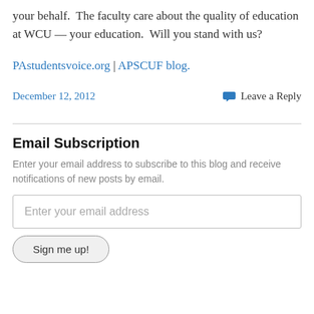your behalf.  The faculty care about the quality of education at WCU — your education.  Will you stand with us?
PAstudentsvoice.org | APSCUF blog.
December 12, 2012    Leave a Reply
Email Subscription
Enter your email address to subscribe to this blog and receive notifications of new posts by email.
Enter your email address
Sign me up!